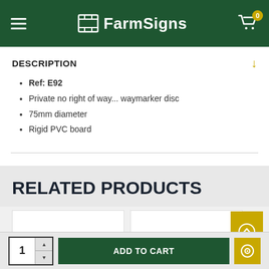[Figure (logo): FarmSigns logo in white on dark green header bar, with hamburger menu icon on left and cart icon with badge '0' on right]
DESCRIPTION
Ref: E92
Private no right of way... waymarker disc
75mm diameter
Rigid PVC board
REVIEWS
RELATED PRODUCTS
[Figure (other): Two white product card placeholders side by side, with a gold/yellow scroll-to-top button on the far right]
1  ADD TO CART